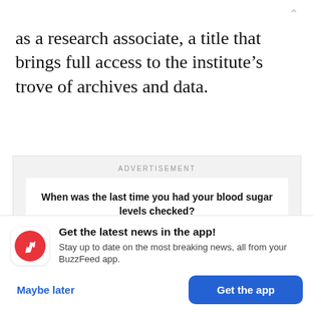as a research associate, a title that brings full access to the institute’s trove of archives and data.
[Figure (other): Advertisement box with label 'ADVERTISEMENT' and inner white card asking 'When was the last time you had your blood sugar levels checked?' with a horizontal black line below.]
[Figure (infographic): App notification banner: BuzzFeed red circle logo with white trending arrow icon, headline 'Get the latest news in the app!', subtext 'Stay up to date on the most breaking news, all from your BuzzFeed app.', with 'Maybe later' (blue text) and 'Get the app' (blue button) actions.]